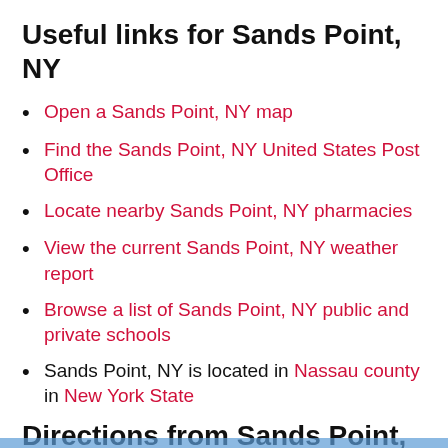Useful links for Sands Point, NY
Open a Sands Point, NY map
Find the Sands Point, NY United States Post Office
Locate nearby Sands Point, NY pharmacies
View the current Sands Point, NY weather report
Browse a list of Sands Point, NY public and private schools
Sands Point, NY is located in Nassau county in New York State
Directions from Sands Point, NY to Empire Pools